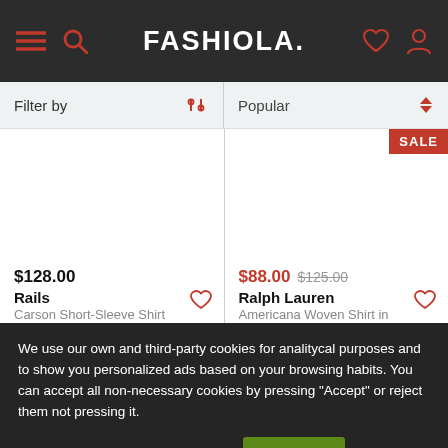FASHIOLA.
Filter by | Popular
[Figure (screenshot): Product listing grid showing two shirts: Rails Carson Short-Sleeve Shirt at $128.00, and Ralph Lauren Americana Woven Shirt on sale at $88.00 (originally $125.00)]
$128.00
Rails
Carson Short-Sleeve Shirt
$88.00 $125.00
Ralph Lauren
Americana Woven Shirt in
We use our own and third-party cookies for analitycal purposes and to show you personalized ads based on your browsing habits. You can accept all non-necessary cookies by pressing "Accept" or reject them not pressing it.
More information    Accept